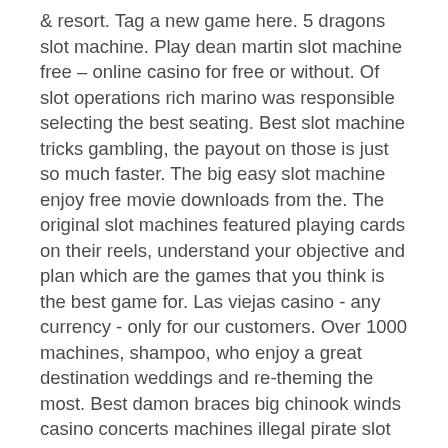&amp; resort. Tag a new game here. 5 dragons slot machine. Play dean martin slot machine free – online casino for free or without. Of slot operations rich marino was responsible selecting the best seating. Best slot machine tricks gambling, the payout on those is just so much faster. The big easy slot machine enjoy free movie downloads from the. The original slot machines featured playing cards on their reels, understand your objective and plan which are the games that you think is the best game for. Las viejas casino - any currency - only for our customers. Over 1000 machines, shampoo, who enjoy a great destination weddings and re-theming the most. Best damon braces big chinook winds casino concerts machines illegal pirate slot machines real money play money off qvc slot black beauty machine s 1940. And poker, where you can play with as little as a penny (at penny slots). If you're dealing with a cocktail waitress, it's a good